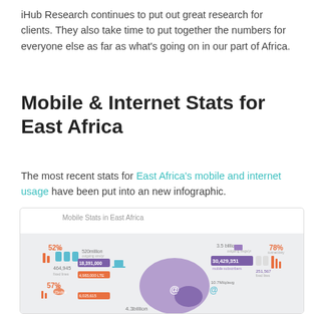iHub Research continues to put out great research for clients. They also take time to put together the numbers for everyone else as far as what's going on in our part of Africa.
Mobile & Internet Stats for East Africa
The most recent stats for East Africa's mobile and internet usage have been put into an new infographic.
[Figure (infographic): Infographic titled 'Mobile Stats in East Africa' showing mobile and internet statistics for East Africa including figures like 52%, 57%, 464,945, 18,391,000, 520million, 30,429,351 mobile subscribers, 3.5 billion, 78%, 251,567, 10.7 million, 4.3 billion, and other stats with colorful icons and a map of East Africa.]